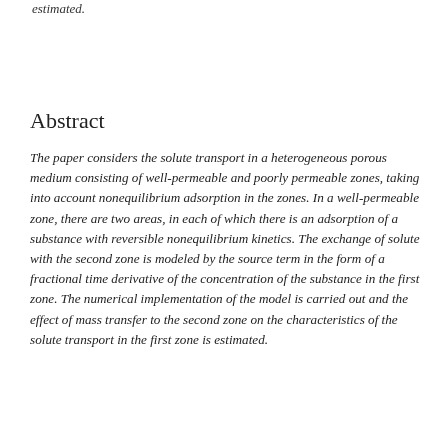estimated.
Abstract
The paper considers the solute transport in a heterogeneous porous medium consisting of well-permeable and poorly permeable zones, taking into account nonequilibrium adsorption in the zones. In a well-permeable zone, there are two areas, in each of which there is an adsorption of a substance with reversible nonequilibrium kinetics. The exchange of solute with the second zone is modeled by the source term in the form of a fractional time derivative of the concentration of the substance in the first zone. The numerical implementation of the model is carried out and the effect of mass transfer to the second zone on the characteristics of the solute transport in the first zone is estimated.